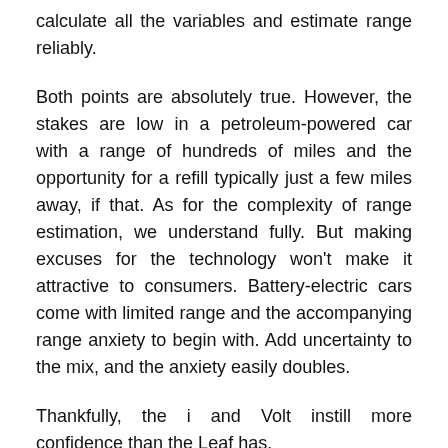calculate all the variables and estimate range reliably.
Both points are absolutely true. However, the stakes are low in a petroleum-powered car with a range of hundreds of miles and the opportunity for a refill typically just a few miles away, if that. As for the complexity of range estimation, we understand fully. But making excuses for the technology won't make it attractive to consumers. Battery-electric cars come with limited range and the accompanying range anxiety to begin with. Add uncertainty to the mix, and the anxiety easily doubles.
Thankfully, the i and Volt instill more confidence than the Leaf has.
Latest news